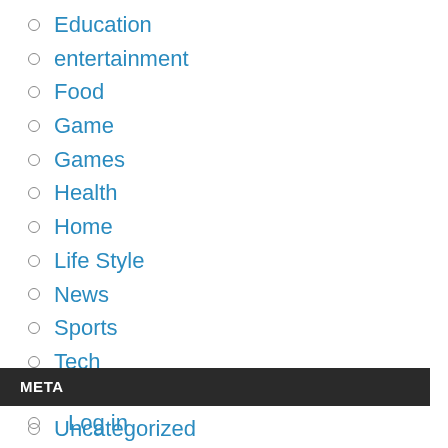Education
entertainment
Food
Game
Games
Health
Home
Life Style
News
Sports
Tech
Travel
Uncategorized
META
Log in